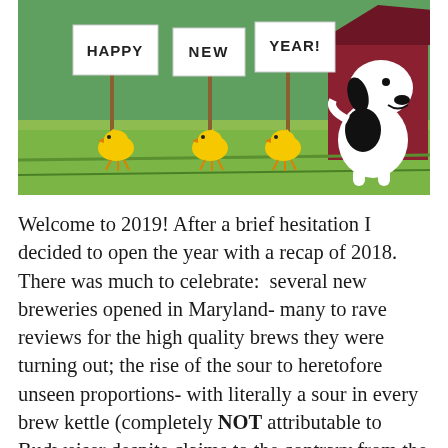[Figure (illustration): Peanuts cartoon illustration: Snoopy standing beside his doghouse, with three Woodstock birds holding signs reading 'HAPPY', 'NEW', and 'YEAR!']
Welcome to 2019! After a brief hesitation I decided to open the year with a recap of 2018. There was much to celebrate:  several new breweries opened in Maryland- many to rave reviews for the high quality brews they were turning out; the rise of the sour to heretofore unseen proportions- with literally a sour in every brew kettle (completely NOT attributable to Budweiser despite claims to the contrary from the In-Bev) and a growing in Hops use and